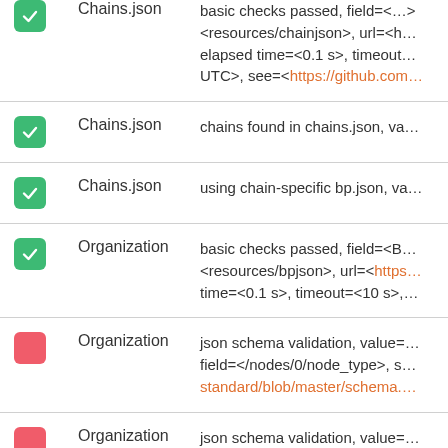| Status | Category | Description |
| --- | --- | --- |
| ✓ | Chains.json | basic checks passed, field=<…> <resources/chainjson>, url=<h… elapsed time=<0.1 s>, timeout UTC>, see=<https://github.com… |
| ✓ | Chains.json | chains found in chains.json, va… |
| ✓ | Chains.json | using chain-specific bp.json, va… |
| ✓ | Organization | basic checks passed, field=<B <resources/bpjson>, url=<https… time=<0.1 s>, timeout=<10 s>,… |
| ✗ | Organization | json schema validation, value= field=</nodes/0/node_type>, s standard/blob/master/schema.… |
| ✗ | Organization | json schema validation, value= query, seed.>, field=</nodes/0… <https://github.com/eosrio/bp-i… |